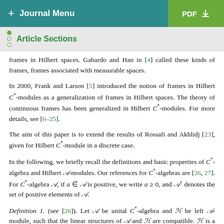+ Journal Menu | PDF ↓
Article Sections
frames in Hilbert spaces. Gabardo and Han in [4] called these kinds of frames, frames associated with measurable spaces.
In 2000, Frank and Larson [5] introduced the notion of frames in Hilbert C*-modules as a generalization of frames in Hilbert spaces. The theory of continuous frames has been generalized in Hilbert C*-modules. For more details, see [6–25].
The aim of this paper is to extend the results of Rossafi and Akhlidj [23], given for Hilbert C*-module in a discrete case.
In the following, we briefly recall the definitions and basic properties of C*-algebra and Hilbert 𝒜-modules. Our references for C*-algebras are [26, 27]. For C*-algebra 𝒜, if a ∈ 𝒜 is positive, we write a ≥ 0, and 𝒜⁺ denotes the set of positive elements of 𝒜.
Definition 1. (see [26]). Let 𝒜 be unital C*-algebra and ℋ be left 𝒜-module, such that the linear structures of 𝒜 and ℋ are compatible. ℋ is a pre Hilbert 𝒜 module if ℋ is equipped with